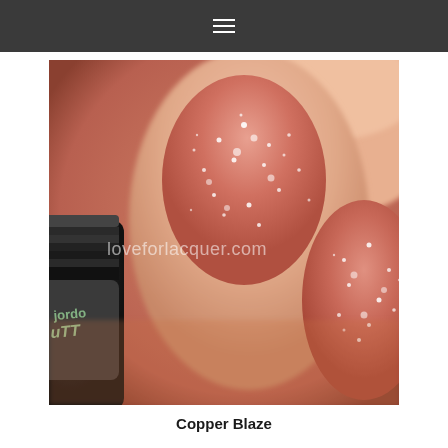≡
[Figure (photo): Close-up photo of fingernails painted with a rose-copper glitter nail polish, with a nail polish bottle visible in the lower left. A watermark reads 'loveforlacquer.com'.]
Copper Blaze